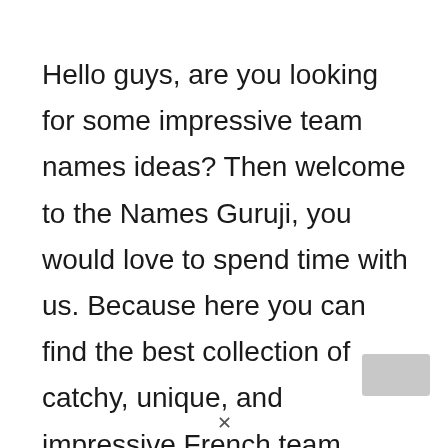Hello guys, are you looking for some impressive team names ideas? Then welcome to the Names Guruji, you would love to spend time with us. Because here you can find the best collection of catchy, unique, and impressive French team names ideas, and suggestions. Through this, you can easily find a suitable name for your team.